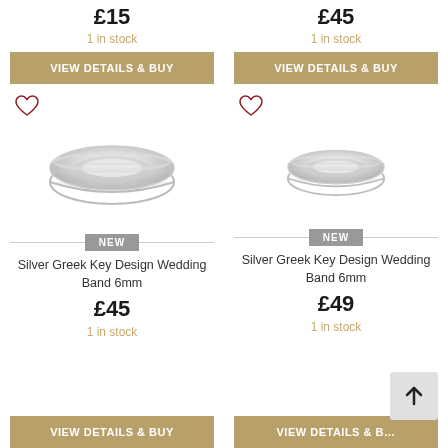£15
1 in stock
VIEW DETAILS & BUY
[Figure (illustration): Heart/wishlist icon outline in dark red]
[Figure (photo): Silver Greek Key Design Wedding Band 6mm ring photo]
NEW
Silver Greek Key Design Wedding Band 6mm
£45
1 in stock
VIEW DETAILS & BUY
£45
1 in stock
VIEW DETAILS & BUY
[Figure (illustration): Heart/wishlist icon outline in dark red]
[Figure (photo): Silver Greek Key Design Wedding Band 6mm ring photo]
NEW
Silver Greek Key Design Wedding Band 6mm
£49
1 in stock
VIEW DETAILS & B…